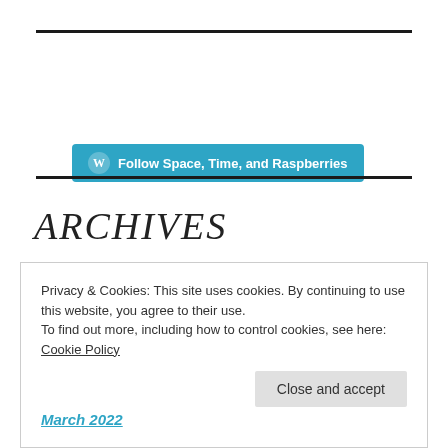[Figure (other): WordPress Follow button: teal rounded button with W logo and text 'Follow Space, Time, and Raspberries']
ARCHIVES
Privacy & Cookies: This site uses cookies. By continuing to use this website, you agree to their use.
To find out more, including how to control cookies, see here: Cookie Policy
Close and accept
March 2022